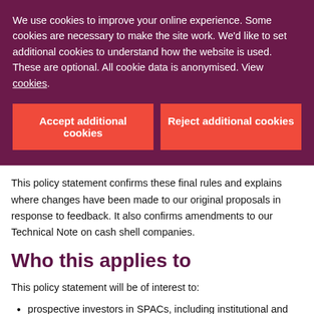We use cookies to improve your online experience. Some cookies are necessary to make the site work. We'd like to set additional cookies to understand how the website is used. These are optional. All cookie data is anonymised. View cookies.
Accept additional cookies
Reject additional cookies
This policy statement confirms these final rules and explains where changes have been made to our original proposals in response to feedback. It also confirms amendments to our Technical Note on cash shell companies.
Who this applies to
This policy statement will be of interest to:
prospective investors in SPACs, including institutional and individual investors
prospective issuers of SPACs considering a UK listing and prospective acquisition targets